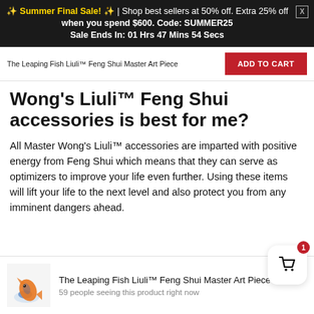✨ Summer Final Sale! ✨ | Shop best sellers at 50% off. Extra 25% off when you spend $600. Code: SUMMER25 Sale Ends In: 01 Hrs 47 Mins 54 Secs
The Leaping Fish Liuli™ Feng Shui Master Art Piece
ADD TO CART
Wong's Liuli™ Feng Shui accessories is best for me?
All Master Wong's Liuli™ accessories are imparted with positive energy from Feng Shui which means that they can serve as optimizers to improve your life even further. Using these items will lift your life to the next level and also protect you from any imminent dangers ahead.
The Leaping Fish Liuli™ Feng Shui Master Art Piece
59 people seeing this product right now